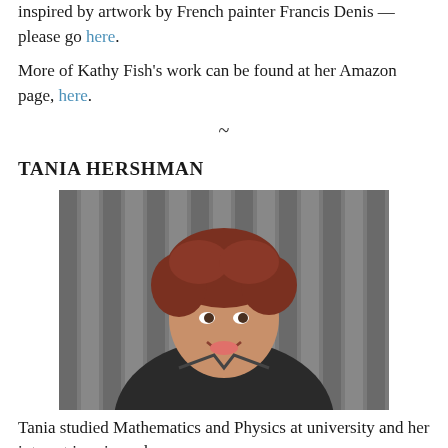inspired by artwork by French painter Francis Denis — please go here.
More of Kathy Fish's work can be found at her Amazon page, here.
~
TANIA HERSHMAN
[Figure (photo): Portrait photo of Tania Hershman, a woman with short reddish-brown hair, smiling, wearing a dark jacket, standing in front of a dark slatted background.]
Tania studied Mathematics and Physics at university and her interest in science has